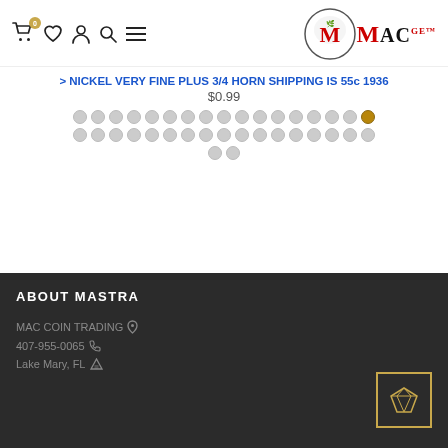Navigation bar with cart (0), wishlist, account, search, menu icons and MAC GE logo
NICKEL VERY FINE PLUS 3/4 HORN SHIPPING IS 55c 1936
$0.99
[Figure (other): Carousel pagination dots — multiple grey circles in rows with one active golden/brown dot]
ABOUT MASTRA
MAC COIN TRADING
407-955-0065
Lake Mary, FL